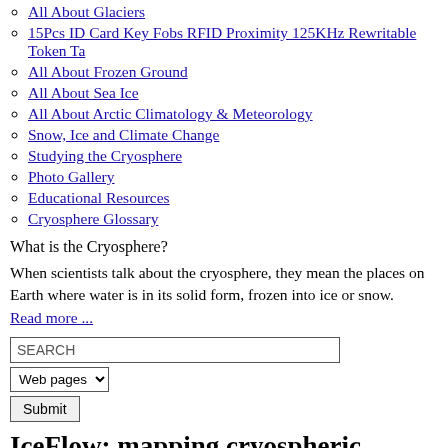All About Glaciers
15Pcs ID Card Key Fobs RFID Proximity 125KHz Rewritable Token Ta
All About Frozen Ground
All About Sea Ice
All About Arctic Climatology & Meteorology
Snow, Ice and Climate Change
Studying the Cryosphere
Photo Gallery
Educational Resources
Cryosphere Glossary
What is the Cryosphere?
When scientists talk about the cryosphere, they mean the places on Earth where water is in its solid form, frozen into ice or snow. Read more ...
SEARCH Web pages Submit
IceFlow: mapping cryospheric elevation